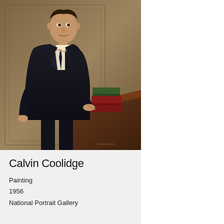[Figure (photo): Oil painting portrait of Calvin Coolidge, a man in a dark suit and long coat, standing next to a desk with books, painted in 1956 style formal portrait]
Calvin Coolidge
Painting
1956
National Portrait Gallery